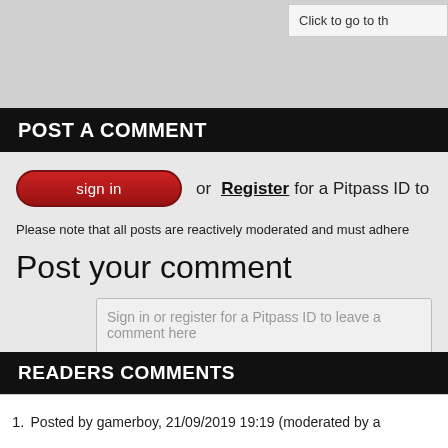Click to go to th
POST A COMMENT
sign in or Register for a Pitpass ID to have y
Please note that all posts are reactively moderated and must adhere
Post your comment
Sign in or register for a Pitpass ID to leave a comment here
READERS COMMENTS
1. Posted by gamerboy, 21/09/2019 19:19 (moderated by a